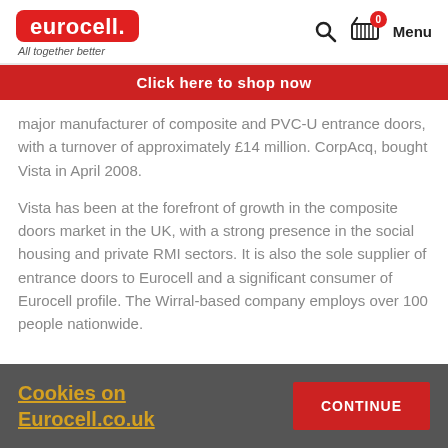eurocell | All together better | Menu
Click here to shop now
major manufacturer of composite and PVC-U entrance doors, with a turnover of approximately £14 million. CorpAcq, bought Vista in April 2008.
Vista has been at the forefront of growth in the composite doors market in the UK, with a strong presence in the social housing and private RMI sectors. It is also the sole supplier of entrance doors to Eurocell and a significant consumer of Eurocell profile. The Wirral-based company employs over 100 people nationwide.
Cookies on Eurocell.co.uk | CONTINUE